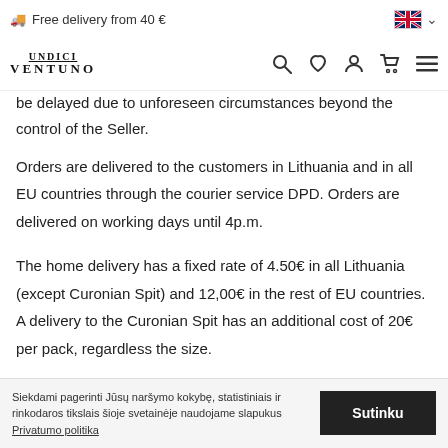Free delivery from 40 €
be delayed due to unforeseen circumstances beyond the control of the Seller.
Orders are delivered to the customers in Lithuania and in all EU countries through the courier service DPD. Orders are delivered on working days until 4p.m.
The home delivery has a fixed rate of 4.50€ in all Lithuania (except Curonian Spit) and 12,00€ in the rest of EU countries. A delivery to the Curonian Spit has an additional cost of 20€ per pack, regardless the size.
If the Customer prefers to receive his order at DPD pickup
Siekdami pagerinti Jūsų naršymo kokybę, statistiniais ir rinkodaros tikslais šioje svetainėje naudojame slapukus Privatumo politika